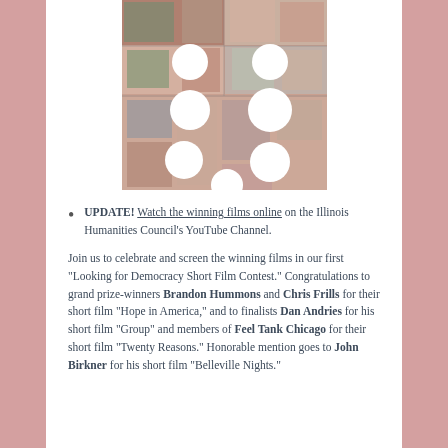[Figure (photo): Mosaic or tile artwork showing large block letters with pink and green tones, overlaid with white circle dots/redactions]
UPDATE! Watch the winning films online on the Illinois Humanities Council's YouTube Channel.
Join us to celebrate and screen the winning films in our first "Looking for Democracy Short Film Contest." Congratulations to grand prize-winners Brandon Hummons and Chris Frills for their short film "Hope in America," and to finalists Dan Andries for his short film "Group" and members of Feel Tank Chicago for their short film "Twenty Reasons." Honorable mention goes to John Birkner for his short film "Belleville Nights."